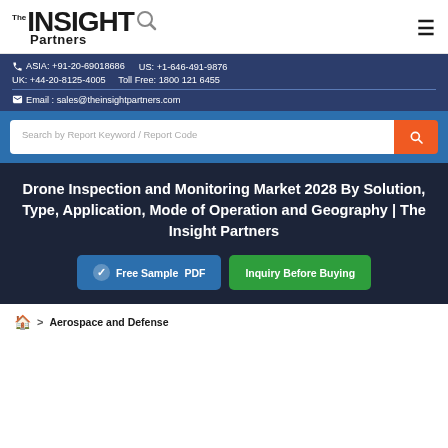The Insight Partners
ASIA: +91-20-69018686   US: +1-646-491-9876   UK: +44-20-8125-4005   Toll Free: 1800 121 6455   Email: sales@theinsightpartners.com
Search by Report Keyword / Report Code
Drone Inspection and Monitoring Market 2028 By Solution, Type, Application, Mode of Operation and Geography | The Insight Partners
Free Sample PDF
Inquiry Before Buying
Aerospace and Defense